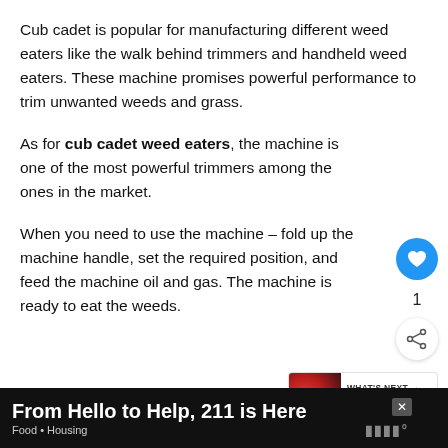Cub cadet is popular for manufacturing different weed eaters like the walk behind trimmers and handheld weed eaters. These machine promises powerful performance to trim unwanted weeds and grass.
As for cub cadet weed eaters, the machine is one of the most powerful trimmers among the ones in the market.
When you need to use the machine – fold up the machine handle, set the required position, and feed the machine oil and gas. The machine is ready to eat the weeds.
[Figure (screenshot): UI overlay showing a heart/like button (blue circle), like count of 1, a share button, and a 'WHAT'S NEXT' thumbnail card for Kawasaki FR691V...]
[Figure (screenshot): Advertisement bar at the bottom: black background, text 'From Hello to Help, 211 is Here', subtitle 'Food • Housing', with a close X button and logo.]